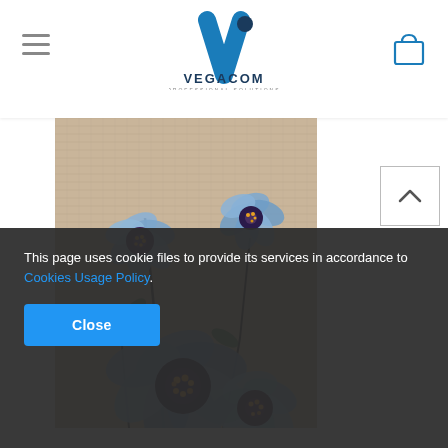VEGACOM PROFESSIONAL SOLUTIONS
[Figure (photo): A decorative notebook or journal cover featuring painted blue poppies/flowers on a beige/tan textured background. The flowers are painted in shades of blue, white, and purple with dark centers containing orange/yellow details, on thin dark stems against a woven fabric-like background.]
This page uses cookie files to provide its services in accordance to Cookies Usage Policy.
Close